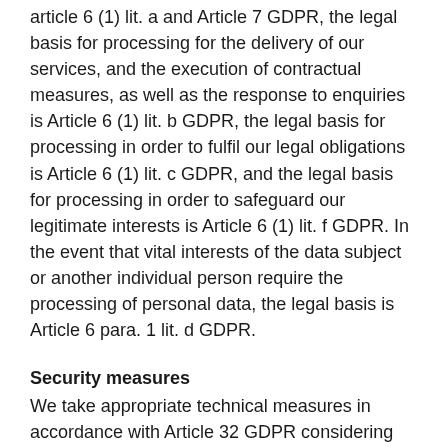article 6 (1) lit. a and Article 7 GDPR, the legal basis for processing for the delivery of our services, and the execution of contractual measures, as well as the response to enquiries is Article 6 (1) lit. b GDPR, the legal basis for processing in order to fulfil our legal obligations is Article 6 (1) lit. c GDPR, and the legal basis for processing in order to safeguard our legitimate interests is Article 6 (1) lit. f GDPR. In the event that vital interests of the data subject or another individual person require the processing of personal data, the legal basis is Article 6 para. 1 lit. d GDPR.
Security measures
We take appropriate technical measures in accordance with Article 32 GDPR considering the available technology, implementation costs, and the type, scope, circumstances, and purpose of the processing, as well as the differing likelihood and severity of the risk to the rights and freedom of the individual persons. We take technical and organisational measures to ensure a level of protection that